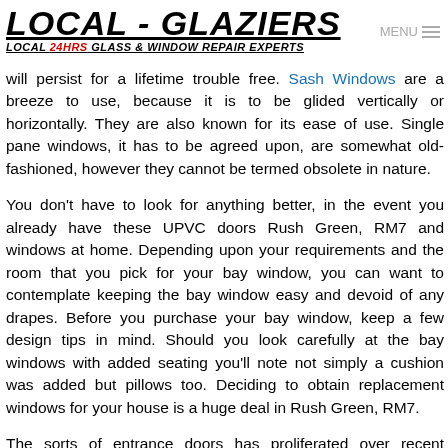LOCAL - GLAZIERS
LOCAL 24HRS GLASS & WINDOW REPAIR EXPERTS
will persist for a lifetime trouble free. Sash Windows are a breeze to use, because it is to be glided vertically or horizontally. They are also known for its ease of use. Single pane windows, it has to be agreed upon, are somewhat old-fashioned, however they cannot be termed obsolete in nature.
You don't have to look for anything better, in the event you already have these UPVC doors Rush Green, RM7 and windows at home. Depending upon your requirements and the room that you pick for your bay window, you can want to contemplate keeping the bay window easy and devoid of any drapes. Before you purchase your bay window, keep a few design tips in mind. Should you look carefully at the bay windows with added seating you'll note not simply a cushion was added but pillows too. Deciding to obtain replacement windows for your house is a huge deal in Rush Green, RM7.
The sorts of entrance doors has proliferated over recent decades. While it could be required to remove the outer door first, this isn't